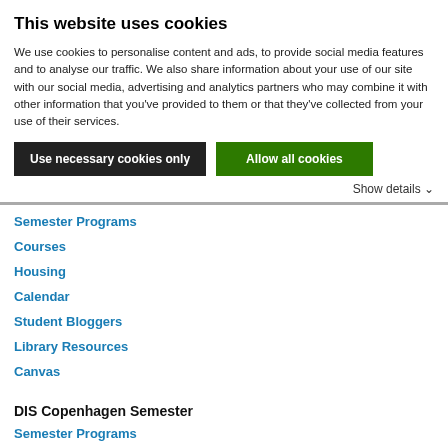This website uses cookies
We use cookies to personalise content and ads, to provide social media features and to analyse our traffic. We also share information about your use of our site with our social media, advertising and analytics partners who may combine it with other information that you've provided to them or that they've collected from your use of their services.
Use necessary cookies only
Allow all cookies
Show details ∨
Semester Programs
Courses
Housing
Calendar
Student Bloggers
Library Resources
Canvas
DIS Copenhagen Semester
Semester Programs
Courses